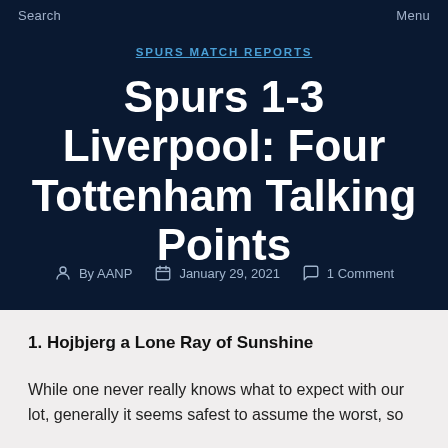Search    Menu
SPURS MATCH REPORTS
Spurs 1-3 Liverpool: Four Tottenham Talking Points
By AANP   January 29, 2021   1 Comment
1. Hojbjerg a Lone Ray of Sunshine
While one never really knows what to expect with our lot, generally it seems safest to assume the worst, so